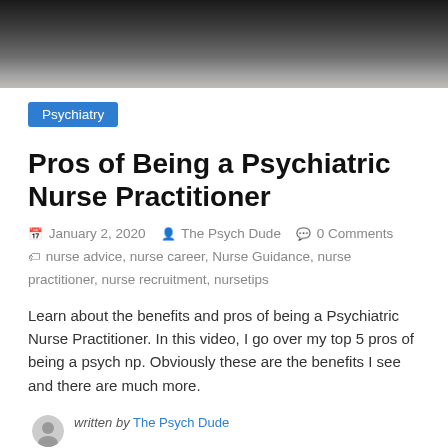[Figure (photo): Cropped photo of a person, showing lower face and shoulders, wearing a dark jacket, against a dark background. Only the chin/neck area is visible.]
Psychiatry
Pros of Being a Psychiatric Nurse Practitioner
January 2, 2020   The Psych Dude   0 Comments   nurse advice, nurse career, Nurse Guidance, nurse practitioner, nurse recruitment, nursetips
Learn about the benefits and pros of being a Psychiatric Nurse Practitioner. In this video, I go over my top 5 pros of being a psych np. Obviously these are the benefits I see and there are much more.
written by The Psych Dude
Contact Info